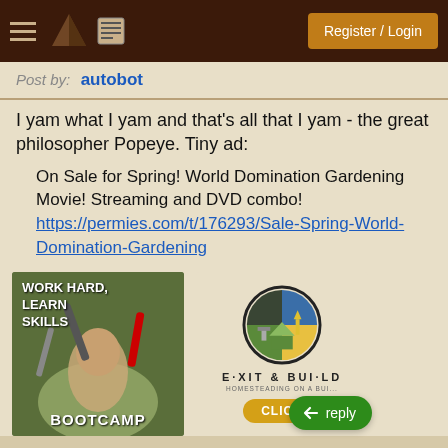Register / Login
Post by: autobot
I yam what I yam and that's all that I yam - the great philosopher Popeye. Tiny ad:
On Sale for Spring! World Domination Gardening Movie! Streaming and DVD combo!
https://permies.com/t/176293/Sale-Spring-World-Domination-Gardening
[Figure (photo): Bootcamp advertisement: person with scythe in outdoor setting, text 'Work Hard, Learn Skills Bootcamp']
[Figure (logo): Exit & Build homesteading logo with circular icon, 'CLICK' button, and reply button overlay]